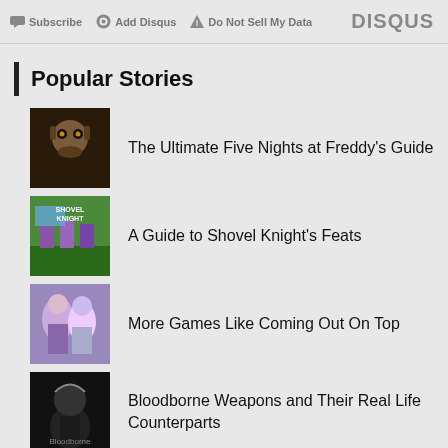Subscribe | Add Disqus | Do Not Sell My Data | DISQUS
Popular Stories
The Ultimate Five Nights at Freddy's Guide
A Guide to Shovel Knight's Feats
More Games Like Coming Out On Top
Bloodborne Weapons and Their Real Life Counterparts
Videos
[Figure (other): Black video thumbnail placeholder]